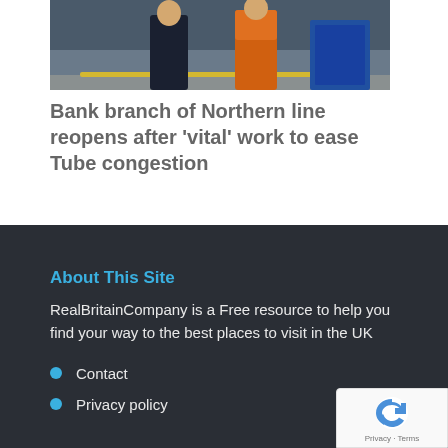[Figure (photo): Photo of two workers, one in dark clothing and one in an orange hi-vis vest, standing near a train platform.]
Bank branch of Northern line reopens after ‘vital’ work to ease Tube congestion
About This Site
RealBritainCompany is a Free resource to help you find your way to the best places to visit in the UK
Contact
Privacy policy